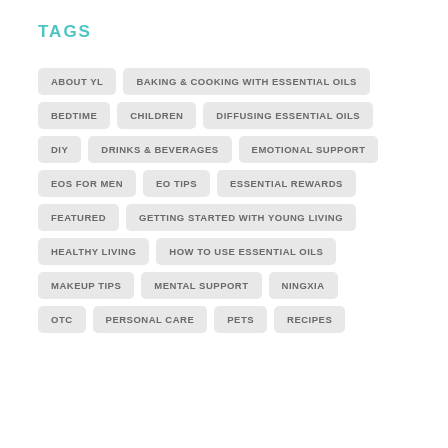TAGS
ABOUT YL
BAKING & COOKING WITH ESSENTIAL OILS
BEDTIME
CHILDREN
DIFFUSING ESSENTIAL OILS
DIY
DRINKS & BEVERAGES
EMOTIONAL SUPPORT
EOS FOR MEN
EO TIPS
ESSENTIAL REWARDS
FEATURED
GETTING STARTED WITH YOUNG LIVING
HEALTHY LIVING
HOW TO USE ESSENTIAL OILS
MAKEUP TIPS
MENTAL SUPPORT
NINGXIA
OTC
PERSONAL CARE
PETS
RECIPES